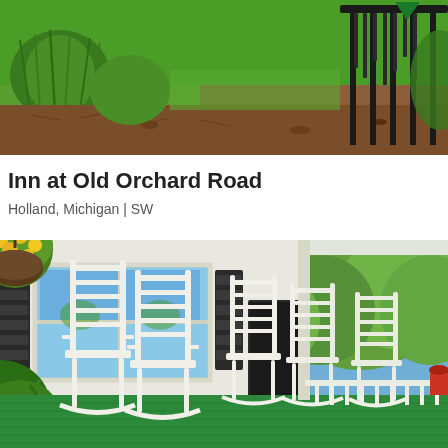[Figure (photo): Outdoor garden scene with green ornamental grasses, mulched garden beds, and a black metal decorative fence or wind chimes structure on the right side.]
Inn at Old Orchard Road
Holland, Michigan | SW
[Figure (photo): Front porch of a white bed and breakfast inn with multiple white rocking chairs on a green-painted porch floor, large windows with black shutters, hanging flower baskets with yellow flowers, ferns, and lush green trees in the background on a sunny day.]